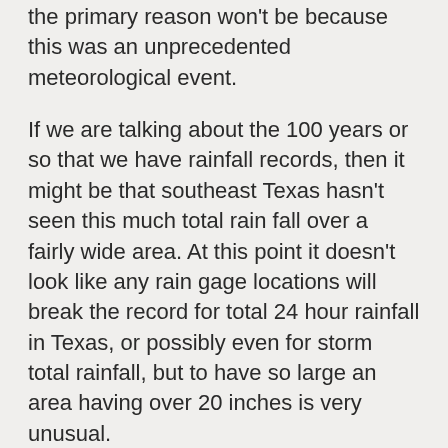the primary reason won't be because this was an unprecedented meteorological event.
If we are talking about the 100 years or so that we have rainfall records, then it might be that southeast Texas hasn't seen this much total rain fall over a fairly wide area. At this point it doesn't look like any rain gage locations will break the record for total 24 hour rainfall in Texas, or possibly even for storm total rainfall, but to have so large an area having over 20 inches is very unusual.
They will break records for their individual gage locations, but that's the kind of record that is routinely broken somewhere anyway, like record high and low temperatures.
In any case, I'd be surprised if such a meteorological event didn't happen in centuries past in this area